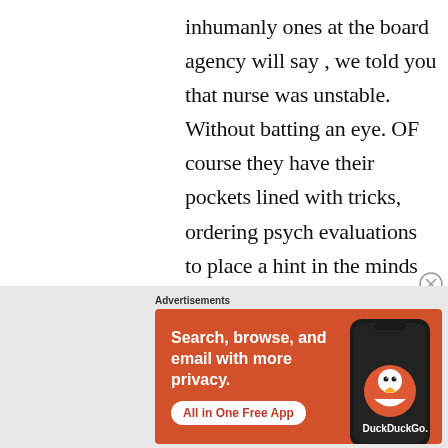inhumanly ones at the board agency will say , we told you that nurse was unstable. Without batting an eye. OF course they have their pockets lined with tricks, ordering psych evaluations to place a hint in the minds of readers , should this case move
[Figure (screenshot): DuckDuckGo advertisement banner: orange background with text 'Search, browse, and email with more privacy. All in One Free App' and a phone graphic showing the DuckDuckGo logo and app name.]